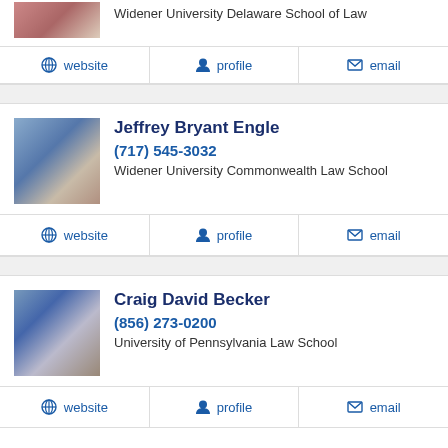Widener University Delaware School of Law
website  profile  email
Jeffrey Bryant Engle
(717) 545-3032
Widener University Commonwealth Law School
website  profile  email
Craig David Becker
(856) 273-0200
University of Pennsylvania Law School
website  profile  email